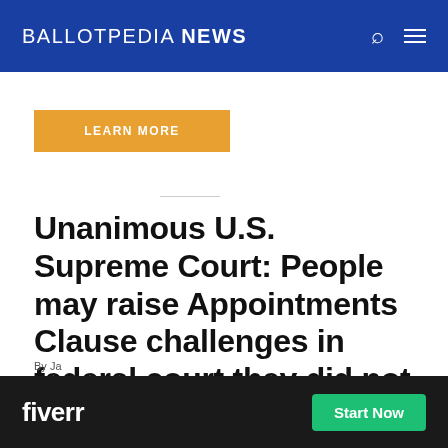BALLOTPEDIA NEWS
LEARN MORE
Unanimous U.S. Supreme Court: People may raise Appointments Clause challenges in federal court they did not mention during agency proceedings
By Ja...
[Figure (other): Fiverr advertisement banner at bottom of page with dark background, Fiverr logo in white, and green 'Start Now' button]